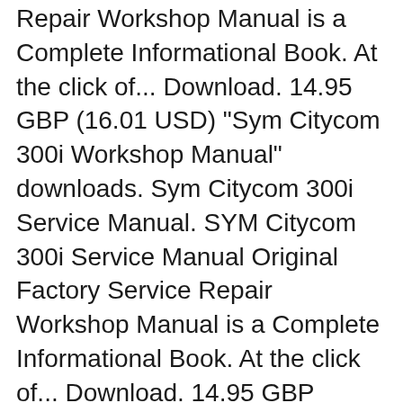Repair Workshop Manual is a Complete Informational Book. At the click of... Download. 14.95 GBP (16.01 USD) "Sym Citycom 300i Workshop Manual" downloads. Sym Citycom 300i Service Manual. SYM Citycom 300i Service Manual Original Factory Service Repair Workshop Manual is a Complete Informational Book. At the click of... Download. 14.95 GBP (16.01 USD)
Sym Citycom 300i Engine and Transmission. The Sym Citycom 300i is a 4 stroke, Scooter bike with a 262.80 ccm (15,96 cubic inches) Single cylinder type of engine. This engine then gets the power to the rear wheel with a Belt driven transmission. With an estimated